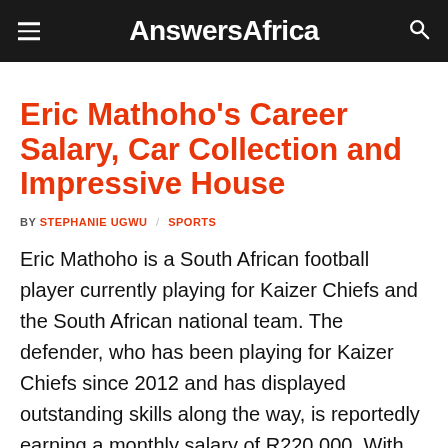AnswersAfrica
Eric Mathoho's Career Salary, Car Collection and Impressive House
BY STEPHANIE UGWU / SPORTS
Eric Mathoho is a South African football player currently playing for Kaizer Chiefs and the South African national team. The defender, who has been playing for Kaizer Chiefs since 2012 and has displayed outstanding skills along the way, is reportedly earning a monthly salary of R220,000. With the massive earnings he has pocketed